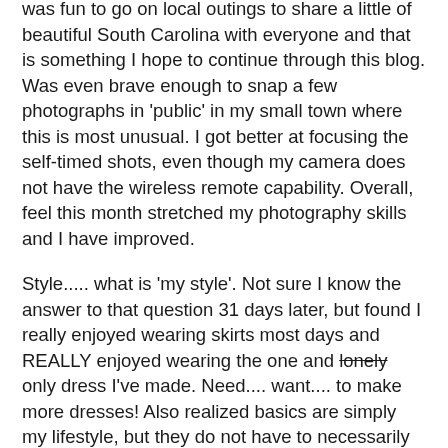was fun to go on local outings to share a little of beautiful South Carolina with everyone and that is something I hope to continue through this blog.  Was even brave enough to snap a few photographs in 'public' in my small town where this is most unusual.  I got better at focusing the self-timed shots, even though my camera does not have the wireless remote capability.  Overall, feel this month stretched my photography skills and I have improved.
Style..... what is 'my style'.  Not sure I know the answer to that question 31 days later, but found I really enjoyed wearing skirts most days and REALLY enjoyed wearing the one and lonely only dress I've made.  Need.... want.... to make more dresses!  Also realized basics are simply my lifestyle, but they do not have to necessarily be 'boring'.  So in the future, as I sew up more basics, aiming for some with a little interest, or unusual design feature like the new Ottobre top.
One interesting fact I noticed this year, as compared to last year, was that I did not repeat garments until more into mid/late-May, and I was able to mix and match my separates